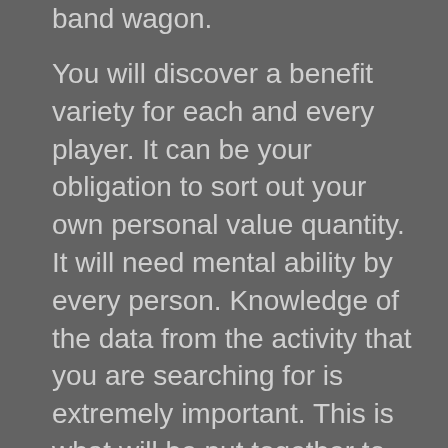band wagon.
You will discover a benefit variety for each and every player. It can be your obligation to sort out your own personal value quantity. It will need mental ability by every person. Knowledge of the data from the activity that you are searching for is extremely important. This is what will be put together to arrive at the significance number. If your importance is multiple, you might be on your path.